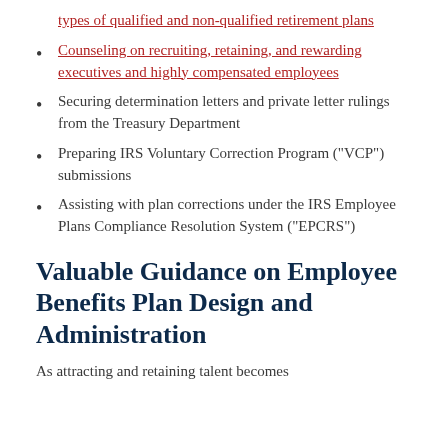types of qualified and non-qualified retirement plans
Counseling on recruiting, retaining, and rewarding executives and highly compensated employees
Securing determination letters and private letter rulings from the Treasury Department
Preparing IRS Voluntary Correction Program ("VCP") submissions
Assisting with plan corrections under the IRS Employee Plans Compliance Resolution System ("EPCRS")
Valuable Guidance on Employee Benefits Plan Design and Administration
As attracting and retaining talent becomes